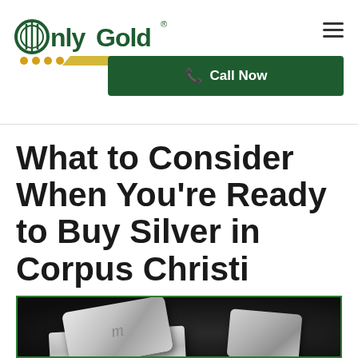[Figure (logo): Only Gold company logo with green text and yellow/gold decorative bar and dots]
[Figure (other): Hamburger menu icon (three horizontal lines) on right side of header]
[Figure (other): Dark green Call Now button with phone icon]
What to Consider When You’re Ready to Buy Silver in Corpus Christi
[Figure (photo): Photo of silver bars and coins on a dark background, with green border frame]